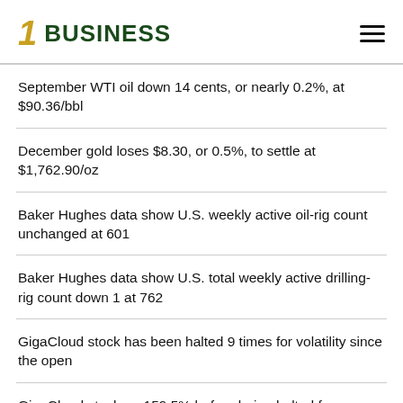1 BUSINESS
September WTI oil down 14 cents, or nearly 0.2%, at $90.36/bbl
December gold loses $8.30, or 0.5%, to settle at $1,762.90/oz
Baker Hughes data show U.S. weekly active oil-rig count unchanged at 601
Baker Hughes data show U.S. total weekly active drilling-rig count down 1 at 762
GigaCloud stock has been halted 9 times for volatility since the open
GigaCloud stock up 159.5% before being halted for volatility
Bed Bath & Beyond stock plunges 41.1%, on track for record 1-